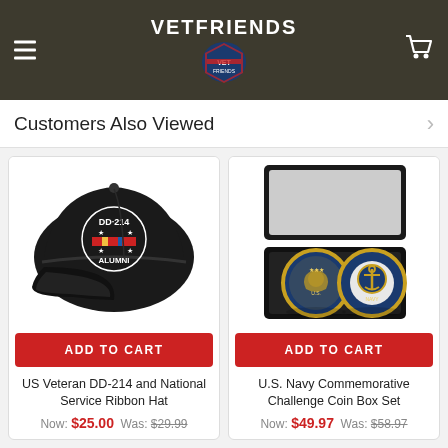VETFRIENDS
Customers Also Viewed
[Figure (photo): Black DD-214 Alumni baseball cap with National Service Ribbon embroidery]
ADD TO CART
US Veteran DD-214 and National Service Ribbon Hat
Now: $25.00  Was: $29.99
[Figure (photo): U.S. Navy Commemorative Challenge Coin Box Set in black velvet display box showing two gold coins]
ADD TO CART
U.S. Navy Commemorative Challenge Coin Box Set
Now: $49.97  Was: $58.97